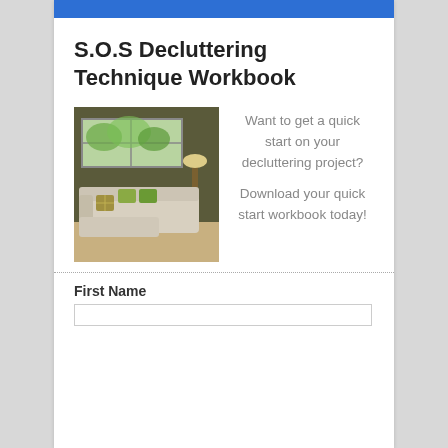S.O.S Decluttering Technique Workbook
[Figure (photo): A living room interior with a large window, sectional beige sofa with green pillows, a lamp, and a view of greenery outside.]
Want to get a quick start on your decluttering project?

Download your quick start workbook today!
First Name